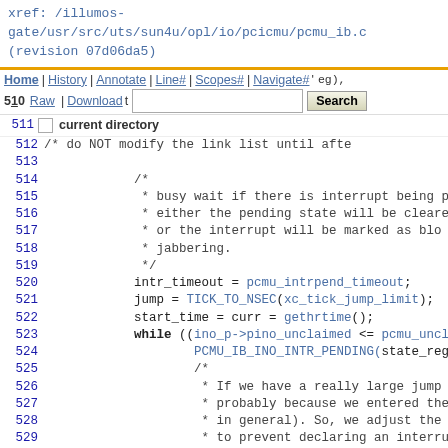xref: /illumos-gate/usr/src/uts/sun4u/opl/io/pcicmu/pcmu_ib.c (revision 07d06da5)
Home | History | Annotate | Line# | Scopes# | Navigate# | Raw | Download | Search | current directory
509 PCMU_IB_INO_INTR_OFF(ino_p->pino_imap_reg);
510
511
512 /* do NOT modify the link list until afte
513
514             /*
515              * busy wait if there is interrupt being p
516              * either the pending state will be cleare
517              * or the interrupt will be marked as bloc
518              * jabbering.
519              */
520             intr_timeout = pcmu_intrpend_timeout;
521             jump = TICK_TO_NSEC(xc_tick_jump_limit);
522             start_time = curr = gethrtime();
523             while ((ino_p->pino_unclaimed <= pcmu_uncl
524                     PCMU_IB_INO_INTR_PENDING(state_reg, in
525                     /*
526                      * If we have a really large jump
527                      * probably because we entered the
528                      * in general). So, we adjust the
529                      * to prevent declaring an interru
530                      * master-interrupt mechanism in O
531                      * the interrupts properly.
532                      */
533                     prev = curr;